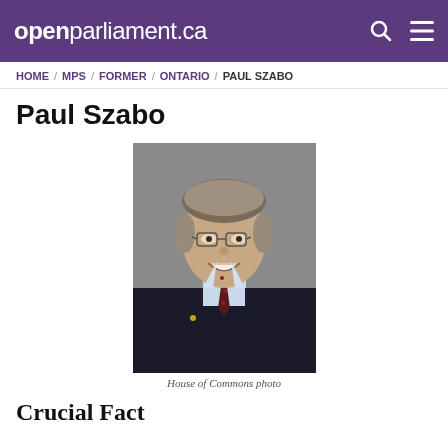openparliament.ca
HOME / MPS / FORMER / ONTARIO / PAUL SZABO
Paul Szabo
[Figure (photo): Official House of Commons portrait photo of Paul Szabo, a man in a dark suit with a red tie, wearing glasses, smiling, against a grey background.]
House of Commons photo
Crucial Fact